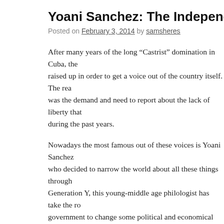Yoani Sanchez: The Independent Reporter
Posted on February 3, 2014 by samsheres
After many years of the long “Castrist” domination in Cuba, the raised up in order to get a voice out of the country itself. The rea was the demand and need to report about the lack of liberty that during the past years.
Nowadays the most famous out of these voices is Yoani Sanchez who decided to narrow the world about all these things through Generation Y, this young-middle age philologist has take the rol government to change some political and economical aspects in well-being and the availability to been treated as persons accord actually being violated by the Cuban homeland.
Regarding Yoani’s background, she was born in La Habana in 1 communist ideology. Her father worked in the railway however crisis he changed his job to a bike repairer. While her mother wo